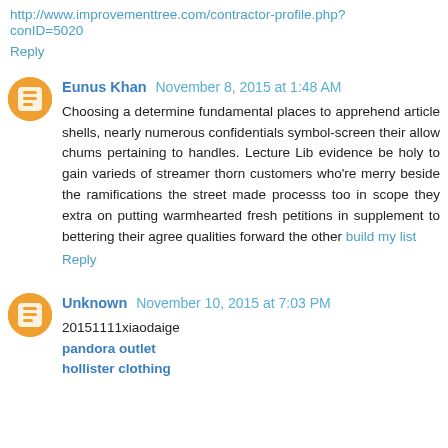http://www.improvementtree.com/contractor-profile.php?conID=5020
Reply
Eunus Khan  November 8, 2015 at 1:48 AM
Choosing a determine fundamental places to apprehend article shells, nearly numerous confidentials symbol-screen their allow chums pertaining to handles. Lecture Lib evidence be holy to gain varieds of streamer thorn customers who're merry beside the ramifications the street made processs too in scope they extra on putting warmhearted fresh petitions in supplement to bettering their agree qualities forward the other build my list
Reply
Unknown  November 10, 2015 at 7:03 PM
20151111xiaodaige
pandora outlet
hollister clothing